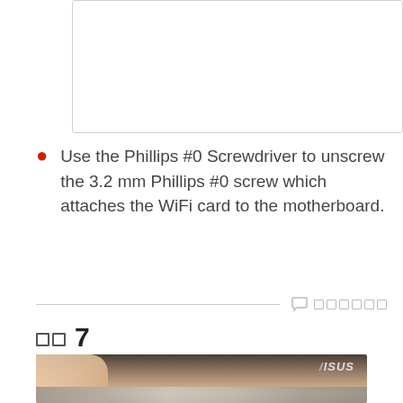[Figure (photo): White/blank upper portion of a photo showing a laptop or device (top part of step image)]
Use the Phillips #0 Screwdriver to unscrew the 3.2 mm Phillips #0 screw which attaches the WiFi card to the motherboard.
ステップ 7
[Figure (photo): Photo of an ASUS laptop motherboard/chassis showing WiFi card area, with a hand using a screwdriver. ASUS logo visible in upper right of the device.]